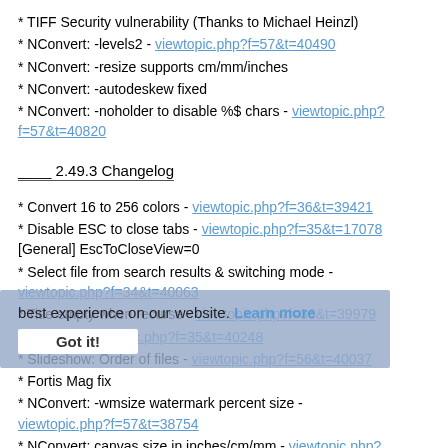* TIFF Security vulnerability (Thanks to Michael Heinzl)
* NConvert: -levels2 - viewtopic.php?f=57&t=40490
* NConvert: -resize supports cm/mm/inches
* NConvert: -autodeskew fixed
* NConvert: -noholder to disable %$ chars - viewtopic.php?f=57&t=40820
____ 2.49.3 Changelog
* Convert 16 to 256 colors - viewtopic.php?f=36&t=39421
* Disable ESC to close tabs - viewtopic.php?f=35&t=17078 [General] EscToCloseView=0
* Select file from search results & switching mode - viewtopic.php?f=34&t=40063
* Title empty when recurse - viewtopic.php?f=36&t=39979
* Resize - viewtopic.php?f=35&t=40248
* Slideshow: Order of files - viewtopic.php?f=56&t=40037
* Fortis Mag fix
* NConvert: -wmsize watermark percent size - viewtopic.php?f=57&t=38754
* NConvert: canvas size in inches/cm/mm - viewtopic.php?f=57&t=39361
* NConvert: replace_color - viewtopic.php?f=57&t=39769
* NConvert: -temperature added